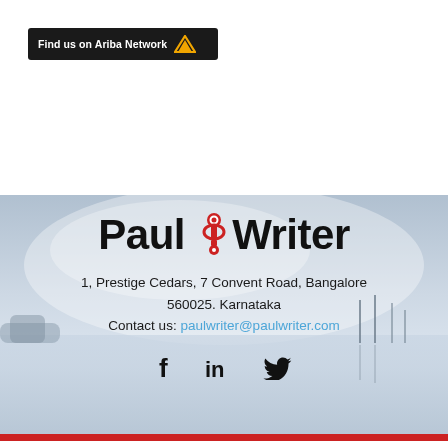[Figure (logo): Find us on Ariba Network badge with chevron logo]
[Figure (illustration): Misty lake with sailboats background image]
PaulWriter
1, Prestige Cedars, 7 Convent Road, Bangalore 560025. Karnataka
Contact us: paulwriter@paulwriter.com
[Figure (other): Social media icons: Facebook, LinkedIn, Twitter]